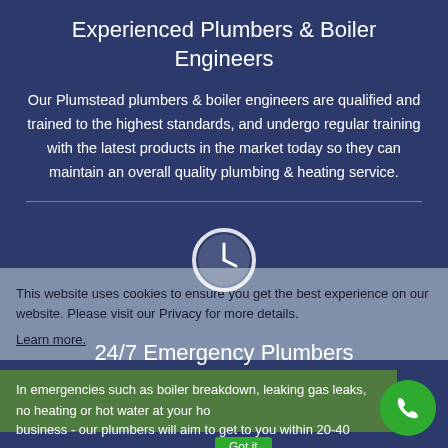Experienced Plumbers & Boiler Engineers
Our Plumstead plumbers & boiler engineers are qualified and trained to the highest standards, and undergo regular training with the latest products in the market today so they can maintain an overall quality plumbing & heating service.
This website uses cookies to ensure you get the best experience on our website. Please visit our Privacy for more details.
Learn more.
24/7 Emergency Plumbers
In emergencies such as boiler breakdown, leaking gas leaks, no heating or hot water at your home or business - our plumbers will aim to get to you within 20-40